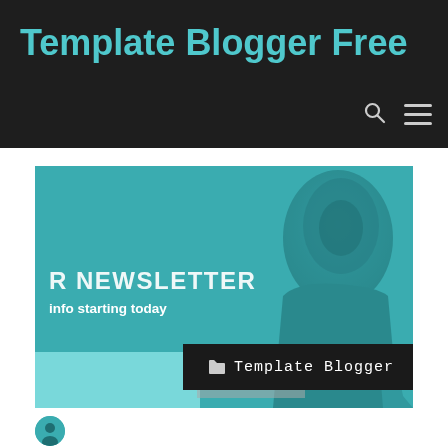Template Blogger Free
[Figure (screenshot): Banner image with teal background showing a hooded figure silhouette. Text reads 'R NEWSLETTER' and 'info starting today'. Bottom area has a light teal strip, a gray input area, and a dark label box reading 'Template Blogger' with a folder icon.]
Template Blogger